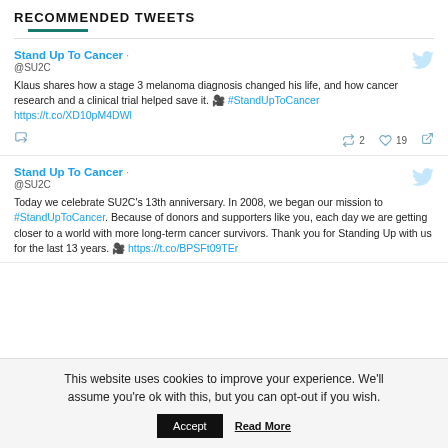RECOMMENDED TWEETS
Stand Up To Cancer · @SU2C
Klaus shares how a stage 3 melanoma diagnosis changed his life, and how cancer research and a clinical trial helped save it. 🎥 #StandUpToCancer https://t.co/XD10pM4DWl
Stand Up To Cancer · @SU2C
Today we celebrate SU2C's 13th anniversary. In 2008, we began our mission to #StandUpToCancer. Because of donors and supporters like you, each day we are getting closer to a world with more long-term cancer survivors. Thank you for Standing Up with us for the last 13 years. 🎥 https://t.co/BPSFt09TEr
This website uses cookies to improve your experience. We'll assume you're ok with this, but you can opt-out if you wish.